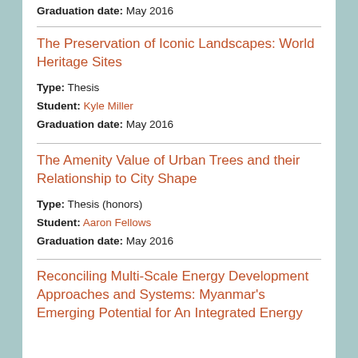Graduation date: May 2016
The Preservation of Iconic Landscapes: World Heritage Sites
Type: Thesis
Student: Kyle Miller
Graduation date: May 2016
The Amenity Value of Urban Trees and their Relationship to City Shape
Type: Thesis (honors)
Student: Aaron Fellows
Graduation date: May 2016
Reconciling Multi-Scale Energy Development Approaches and Systems: Myanmar's Emerging Potential for An Integrated Energy